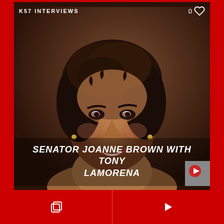K57 INTERVIEWS
[Figure (photo): Close-up portrait photo of Senator Joanne Brown, a woman with dark curly/wavy hair, smiling, wearing earrings, against a dark brown studio background.]
SENATOR JOANNE BROWN WITH TONY LAMORENA